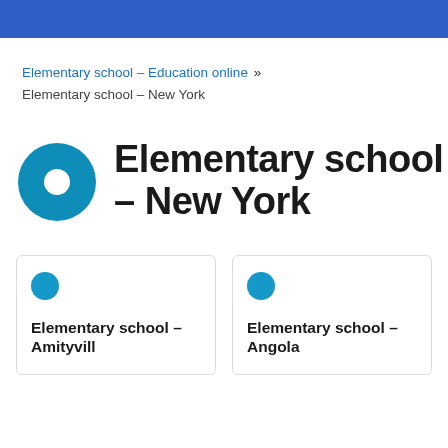Elementary school – Education online » Elementary school – New York
Elementary school – New York
Elementary school – Amityville
Elementary school – Angola